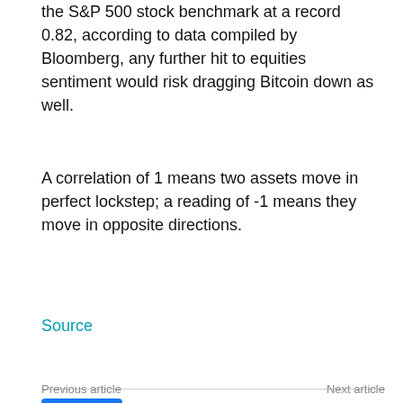the S&P 500 stock benchmark at a record 0.82, according to data compiled by Bloomberg, any further hit to equities sentiment would risk dragging Bitcoin down as well.
A correlation of 1 means two assets move in perfect lockstep; a reading of -1 means they move in opposite directions.
Source
[Figure (other): Social sharing buttons: Like 0 button, and four social media icons for Facebook, Twitter, Pinterest, and WhatsApp]
Previous article    Next article